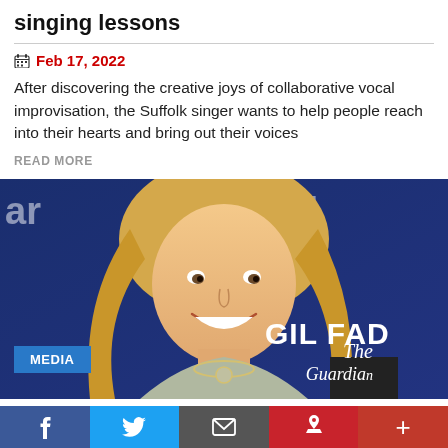singing lessons
Feb 17, 2022
After discovering the creative joys of collaborative vocal improvisation, the Suffolk singer wants to help people reach into their hearts and bring out their voices
READ MORE
[Figure (photo): Blonde woman smiling at camera in front of blue backdrop with 'GILEAD' and event branding. MEDIA badge and The Guardian logo overlaid in bottom corners.]
f  Twitter bird  envelope  P  +